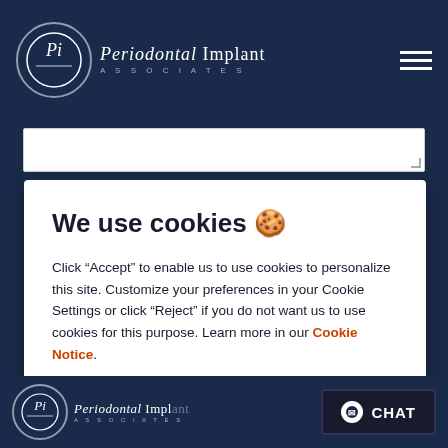Periodontal Implant Associates
We use cookies 🍪
Click “Accept” to enable us to use cookies to personalize this site. Customize your preferences in your Cookie Settings or click “Reject” if you do not want us to use cookies for this purpose. Learn more in our Cookie Notice.
Cookies settings
Accept
Periodontal Implant Associates  CHAT